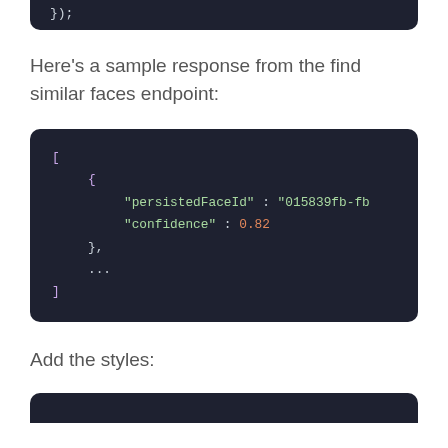[Figure (screenshot): Dark code block showing top fragment: }),]
Here's a sample response from the find similar faces endpoint:
[Figure (screenshot): Dark code block showing JSON array with persistedFaceId and confidence fields: [ { "persistedFaceId" : "015839fb-fb...", "confidence" : 0.82 }, ... ]]
Add the styles:
[Figure (screenshot): Partial dark code block at bottom of page (cut off)]